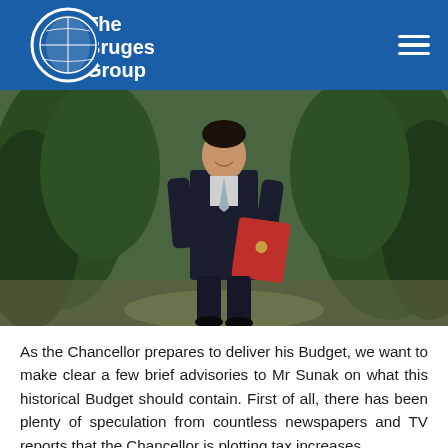[Figure (logo): The Bruges Group logo — white text on blue circle with globe graphic]
[Figure (photo): A man in a dark suit carrying a red folder/briefcase, walking outdoors with green foliage in the background. Identified as Chancellor Rishi Sunak.]
As the Chancellor prepares to deliver his Budget, we want to make clear a few brief advisories to Mr Sunak on what this historical Budget should contain. First of all, there has been plenty of speculation from countless newspapers and TV reports that the Chancellor is plotting tax increases,